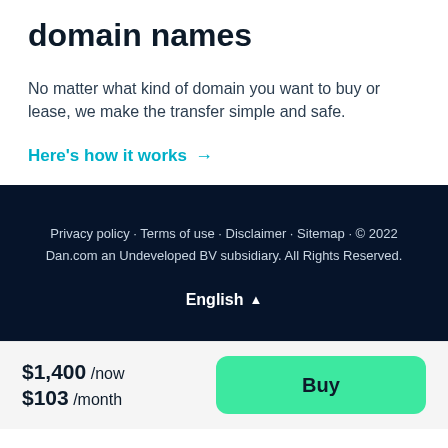domain names
No matter what kind of domain you want to buy or lease, we make the transfer simple and safe.
Here's how it works →
Privacy policy · Terms of use · Disclaimer · Sitemap · © 2022 Dan.com an Undeveloped BV subsidiary. All Rights Reserved.
English ▲
$1,400 /now $103 /month
Buy